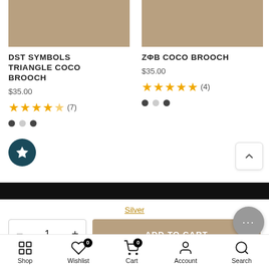[Figure (photo): Product image placeholder for DST Symbols Triangle Coco Brooch - tan/beige rectangle]
DST SYMBOLS TRIANGLE COCO BROOCH
$35.00
4.5 stars (7)
[Figure (photo): Product image placeholder for ZΦB Coco Brooch - tan/beige rectangle]
ZΦB COCO BROOCH
$35.00
5 stars (4)
Silver
1
ADD TO CART
Shop  Wishlist  Cart  Account  Search